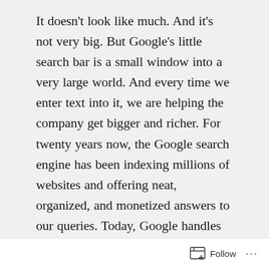It doesn't look like much. And it's not very big. But Google's little search bar is a small window into a very large world. And every time we enter text into it, we are helping the company get bigger and richer. For twenty years now, the Google search engine has been indexing millions of websites and offering neat, organized, and monetized answers to our queries. Today, Google handles over 3 billion searches a day and is the most-used search engine in the world, dominating both desktop and mobile search in the U.S. search market. As a result, it's the fastest, most efficient, and most informed search engine out there, which is usually
Follow ···